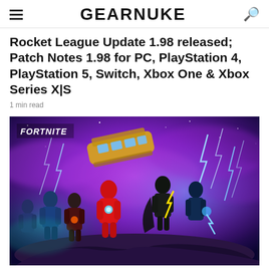GEARNUKE
Rocket League Update 1.98 released; Patch Notes 1.98 for PC, PlayStation 4, PlayStation 5, Switch, Xbox One & Xbox Series X|S
1 min read
[Figure (photo): Fortnite promotional artwork showing Marvel and DC superhero characters standing on rocky terrain against a purple cosmic background with lightning bolts. A bus flies overhead. The Fortnite logo appears in the upper left corner.]